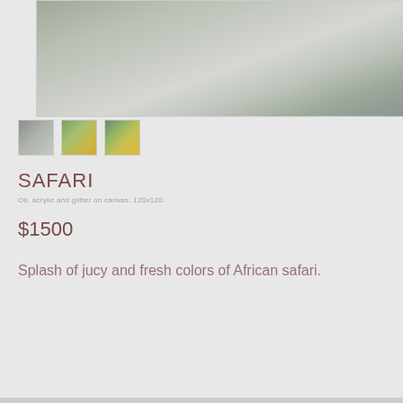[Figure (photo): Main large blurred photo of a safari/nature scene with grey-green tones, spanning the top of the page]
[Figure (photo): Three small thumbnail images below the main image: first is grey-toned, second and third show yellow-green foliage colors]
SAFARI
Oil, acrylic and glitter on canvas, 120x120.
$1500
Splash of jucy and fresh colors of African safari.